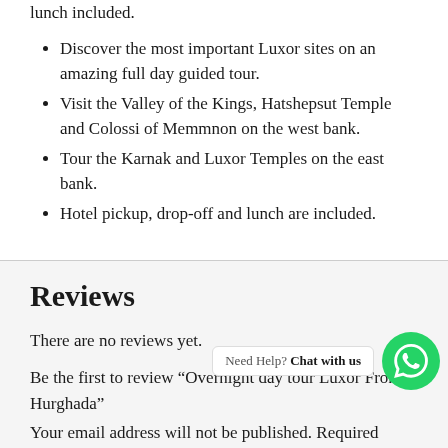lunch included.
Discover the most important Luxor sites on an amazing full day guided tour.
Visit the Valley of the Kings, Hatshepsut Temple and Colossi of Memmnon on the west bank.
Tour the Karnak and Luxor Temples on the east bank.
Hotel pickup, drop-off and lunch are included.
Reviews
There are no reviews yet.
Be the first to review “Overnight day tour / Luxor From Hurghada”
Your email address will not be published. Required fields